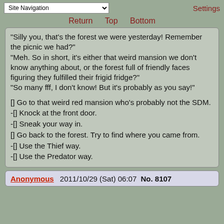Site Navigation | Settings
Return  Top  Bottom
“Silly you, that’s the forest we were yesterday! Remember the picnic we had?”
“Meh. So in short, it’s either that weird mansion we don’t know anything about, or the forest full of friendly faces figuring they fulfilled their frigid fridge?”
“So many fff, I don’t know! But it’s probably as you say!”
[] Go to that weird red mansion who’s probably not the SDM.
-[] Knock at the front door.
-[] Sneak your way in.
[] Go back to the forest. Try to find where you came from.
-[] Use the Thief way.
-[] Use the Predator way.
Anonymous  2011/10/29 (Sat) 06:07  No. 8107